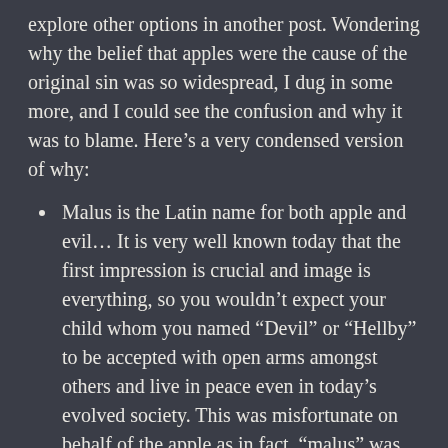explore other options in another post. Wondering why the belief that apples were the cause of the original sin was so widespread, I dug in some more, and I could see the confusion and why it was to blame. Here’s a very condensed version of why:
Malus is the Latin name for both apple and evil… It is very well known today that the first impression is crucial and image is everything, so you wouldn’t expect your child whom you named “Devil” or “Hellby” to be accepted with open arms amongst others and live in peace even in today’s evolved society. This was misfortunate on behalf of the apple as in fact, “malus” was the generic name for any kind of foreign fruit except berries, and nations across the world named all the strange fruits in their language in relation to that fact… e.g: